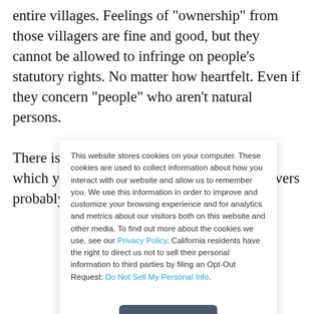entire villages. Feelings of "ownership" from those villagers are fine and good, but they cannot be allowed to infringe on people's statutory rights. No matter how heartfelt. Even if they concern "people" who aren't natural persons.

There is an interesting question right there which you could have highlighted: the lawgivers probably didn't
This website stores cookies on your computer. These cookies are used to collect information about how you interact with our website and allow us to remember you. We use this information in order to improve and customize your browsing experience and for analytics and metrics about our visitors both on this website and other media. To find out more about the cookies we use, see our Privacy Policy. California residents have the right to direct us not to sell their personal information to third parties by filing an Opt-Out Request: Do Not Sell My Personal Info.